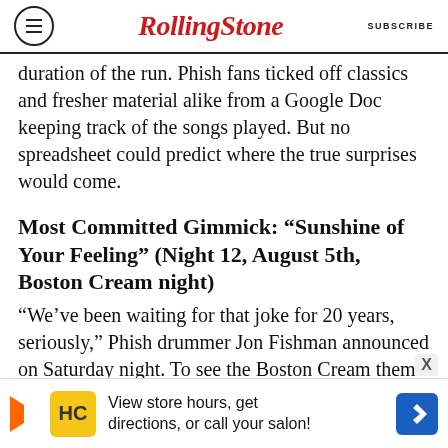RollingStone  SUBSCRIBE
duration of the run. Phish fans ticked off classics and fresher material alike from a Google Doc keeping track of the songs played. But no spreadsheet could predict where the true surprises would come.
Most Committed Gimmick: “Sunshine of Your Feeling” (Night 12, August 5th, Boston Cream night)
“We’ve been waiting for that joke for 20 years, seriously,” Phish drummer Jon Fishman announced on Saturday night. To see the Boston Cream theme through, the band played a mash-up of songs by Boston and Cream; beginning with